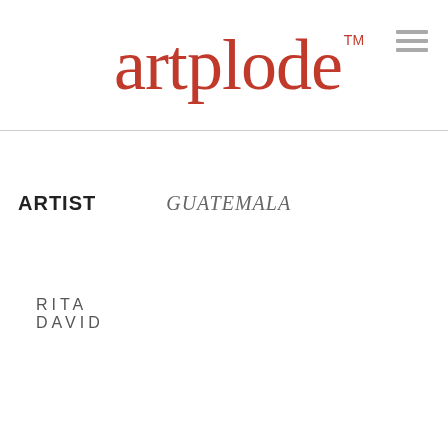artplode™
RITA DAVID
ARTIST   GUATEMALA